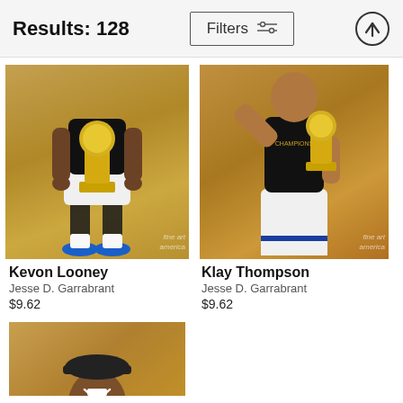Results: 128  |  Filters  |  ↑
[Figure (photo): Basketball player Kevon Looney holding NBA championship trophy, wearing black shirt and white shorts, blue sneakers, on a golden/brown background. Fine Art America watermark visible.]
Kevon Looney
Jesse D. Garrabrant
$9.62
[Figure (photo): Basketball player Klay Thompson flexing and holding NBA championship trophy, wearing black t-shirt with Champions text and white shorts, on a golden/brown background. Fine Art America watermark visible.]
Klay Thompson
Jesse D. Garrabrant
$9.62
[Figure (photo): Partial view of a third basketball player smiling, wearing a cap and black shirt, on a golden/brown background. Only the upper portion visible (image is cropped at page bottom).]